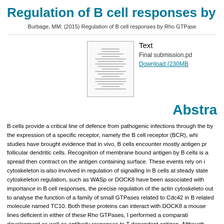Regulation of B cell responses by Rho GTPases
Burbage, MM; (2015) Regulation of B cell responses by Rho GTPase
[Figure (other): Thumbnail image of the thesis document cover page]
Text
Final submission.pd
Download (230MB
Abstract
B cells provide a critical line of defence from pathogenic infections through the by the expression of a specific receptor, namely the B cell receptor (BCR), whi studies have brought evidence that in vivo, B cells encounter mostly antigen pr follicular dendritic cells. Recognition of membrane bound antigen by B cells is a spread then contract on the antigen containing surface. These events rely on i cytoskeleton is also involved in regulation of signalling in B cells at steady state cytoskeleton regulation, such as WASp or DOCK8 have been associated with importance in B cell responses, the precise regulation of the actin cytoskeleto out to analyse the function of a family of small GTPases related to Cdc42 in B related molecule named TC10. Both these proteins can interact with DOCK8 a mouse lines deficient in either of these Rho GTPases, I performed a comparati development as well as antibody responses to T dependent antigen. Although responses, the effect of Cdc42 inactivation was of striking magnitude. Then, I